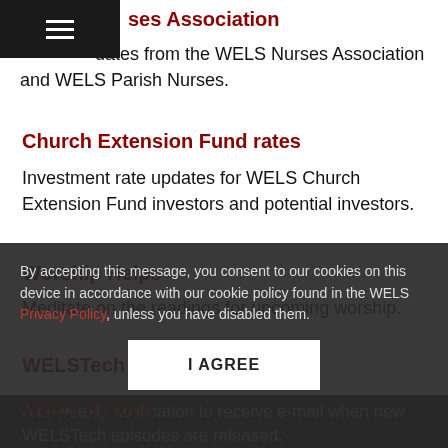ses Association
dates from the WELS Nurses Association and WELS Parish Nurses.
Church Extension Fund rates
Investment rate updates for WELS Church Extension Fund investors and potential investors.
Worship Helps
Meditate on the readings for upcoming worship.
WELSTech E-news
A bi-weekly notification to receive e-mail when new WELSTech episodes are released.
WELS Europe
A monthly newsletter chaplain with updates about those Europe, both civilian and the military.
By accepting this message, you consent to our cookies on this device in accordance with our cookie policy found in the WELS Privacy Policy, unless you have disabled them.
I AGREE